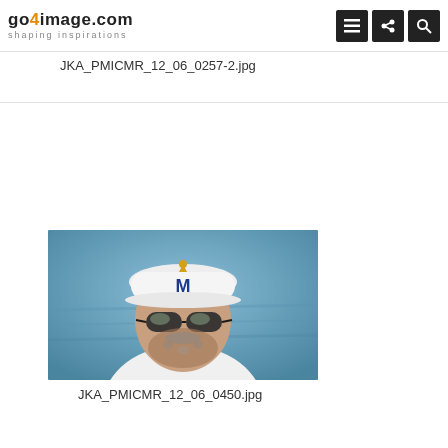go4image.com shaping inspirations
JKA_PMICMR_12_06_0257-2.jpg
[Figure (photo): Portrait photo of a middle-aged man wearing a white baseball cap with a blue M logo and gold emblem, dark wraparound sunglasses, and a white shirt. He has a salt-and-pepper beard. Background is blurred blue (water or sky).]
JKA_PMICMR_12_06_0450.jpg